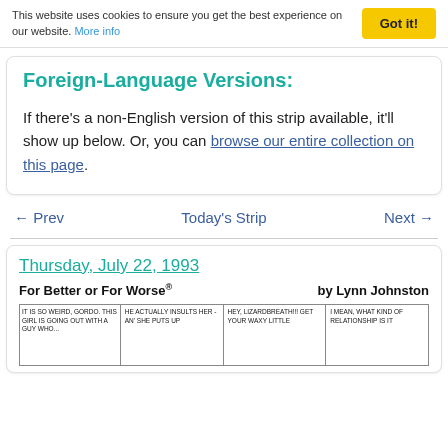This website uses cookies to ensure you get the best experience on our website. More info
Foreign-Language Versions:
If there's a non-English version of this strip available, it'll show up below. Or, you can browse our entire collection on this page.
← Prev   Today's Strip   Next →
Thursday, July 22, 1993
For Better or For Worse® by Lynn Johnston
[Figure (illustration): Four comic strip panels from 'For Better or For Worse' showing partial text in each panel]